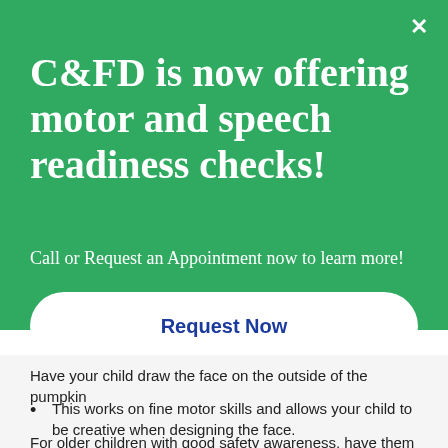C&FD is now offering motor and speech readiness checks!
Call or Request an Appointment now to learn more!
Request Now
Have your child draw the face on the outside of the pumpkin
This works on fine motor skills and allows your child to be creative when designing the face.
For older children with good safety awareness, have them